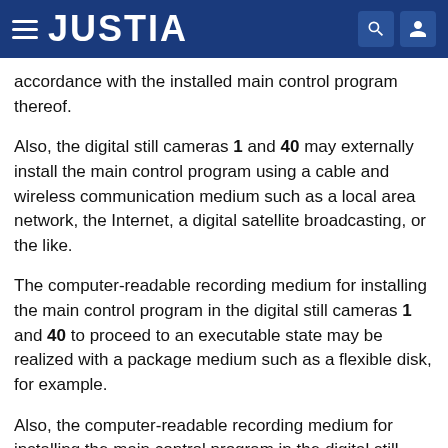JUSTIA
accordance with the installed main control program thereof.
Also, the digital still cameras 1 and 40 may externally install the main control program using a cable and wireless communication medium such as a local area network, the Internet, a digital satellite broadcasting, or the like.
The computer-readable recording medium for installing the main control program in the digital still cameras 1 and 40 to proceed to an executable state may be realized with a package medium such as a flexible disk, for example.
Also, the computer-readable recording medium for installing the main control program in the digital still cameras 1 and 40 to proceed to an executable state may